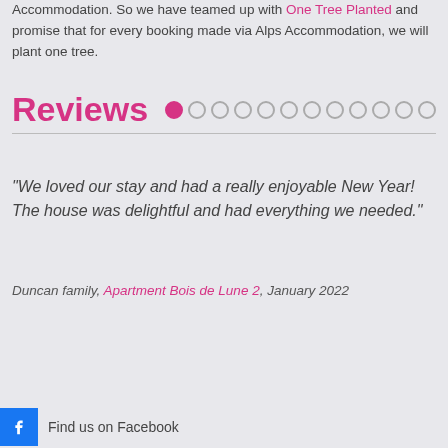Accommodation. So we have teamed up with One Tree Planted and promise that for every booking made via Alps Accommodation, we will plant one tree.
Reviews
"We loved our stay and had a really enjoyable New Year! The house was delightful and had everything we needed."
Duncan family, Apartment Bois de Lune 2, January 2022
Find us on Facebook